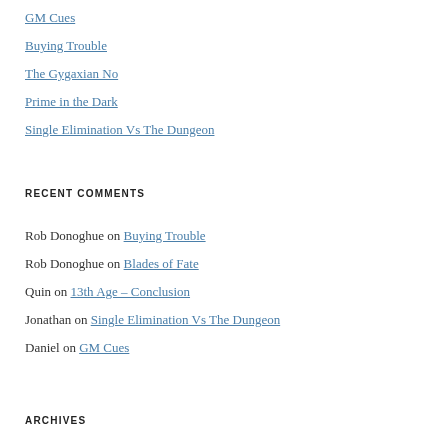GM Cues
Buying Trouble
The Gygaxian No
Prime in the Dark
Single Elimination Vs The Dungeon
RECENT COMMENTS
Rob Donoghue on Buying Trouble
Rob Donoghue on Blades of Fate
Quin on 13th Age – Conclusion
Jonathan on Single Elimination Vs The Dungeon
Daniel on GM Cues
ARCHIVES